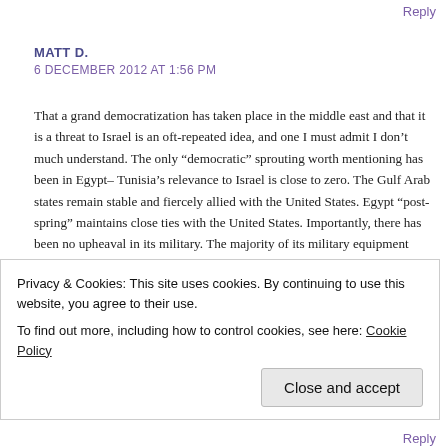Reply
MATT D.
6 DECEMBER 2012 AT 1:56 PM
That a grand democratization has taken place in the middle east and that it is a threat to Israel is an oft-repeated idea, and one I must admit I don’t much understand. The only “democratic” sprouting worth mentioning has been in Egypt– Tunisia’s relevance to Israel is close to zero. The Gulf Arab states remain stable and fiercely allied with the United States. Egypt “post-spring” maintains close ties with the United States. Importantly, there has been no upheaval in its military. The majority of its military equipment and the education and training of its entire officer corps has been provided by the United States.
There has been a marked rise in free expression of opinion by people who claim to hate Israel but also support the overthrow of Assad. In other words, gullible, powerless, irrelevant people.
Privacy & Cookies: This site uses cookies. By continuing to use this website, you agree to their use.
To find out more, including how to control cookies, see here: Cookie Policy
Close and accept
Reply